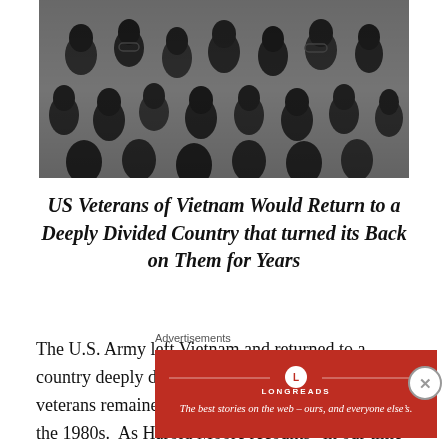[Figure (photo): Black and white photograph of a large crowd of people, densely packed, faces visible, appearing somber]
US Veterans of Vietnam Would Return to a Deeply Divided Country that turned its Back on Them for Years
The U.S. Army left Vietnam and returned to a country deeply divided by the war.  Vietnam veterans remained ostracized by the society until the 1980s.  As Harold Moore recounts “in our time battles were forgotten, our sacrifices were discounted, and both our sanity and
Advertisements
[Figure (other): Longreads advertisement banner in red: logo with circle L, text LONGREADS, tagline 'The best stories on the web – ours, and everyone else’s.']